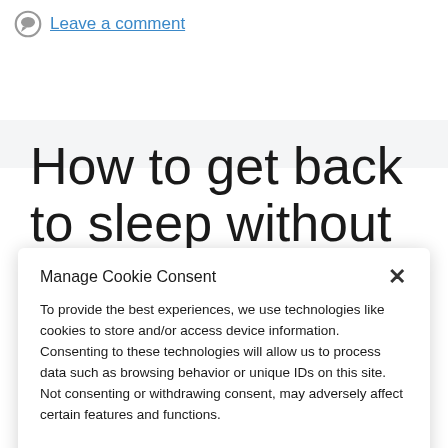Leave a comment
How to get back to sleep without drugs
Manage Cookie Consent
To provide the best experiences, we use technologies like cookies to store and/or access device information. Consenting to these technologies will allow us to process data such as browsing behavior or unique IDs on this site. Not consenting or withdrawing consent, may adversely affect certain features and functions.
Accept
Cookie Policy